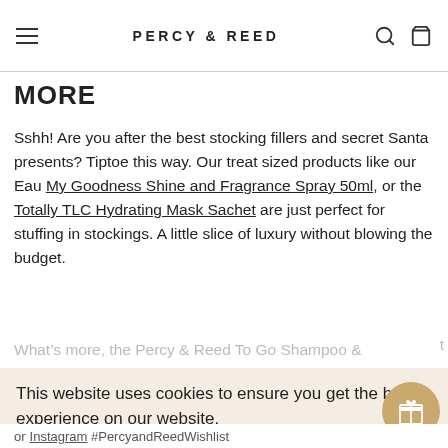PERCY & REED
MORE
Sshh! Are you after the best stocking fillers and secret Santa presents? Tiptoe this way. Our treat sized products like our Eau My Goodness Shine and Fragrance Spray 50ml, or the Totally TLC Hydrating Mask Sachet are just perfect for stuffing in stockings. A little slice of luxury without blowing the budget.
What’s more, the Percy & Reed To Go Shampoo &...
This website uses cookies to ensure you get the best experience on our website.
Learn more
GOT IT!
or Instagram #PercyandReedWishlist